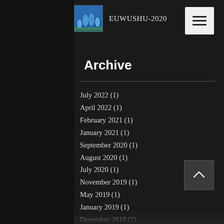EUWUSHU-2020
Archive
July 2022 (1)
April 2022 (1)
February 2021 (1)
January 2021 (1)
September 2020 (1)
August 2020 (1)
July 2020 (1)
November 2019 (1)
May 2019 (1)
January 2019 (1)
December 2018 (2)
November 2018 (1)
July 2018 (1)